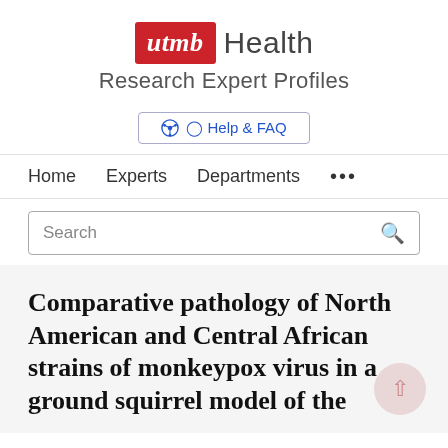[Figure (logo): UTMB Health logo: red box with italic white 'utmb' text followed by gray 'Health' text]
Research Expert Profiles
Help & FAQ
Home   Experts   Departments   ...
Search
Comparative pathology of North American and Central African strains of monkeypox virus in a ground squirrel model of the